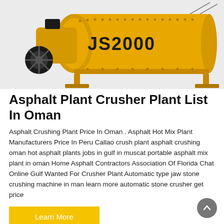[Figure (photo): Yellow JS2000 concrete mixer / industrial machine on a light grey background. Large cylindrical drum with black 'JS2000' text stenciled on it, motor and mechanical components visible on the left side.]
Asphalt Plant Crusher Plant List In Oman
Asphalt Crushing Plant Price In Oman . Asphalt Hot Mix Plant Manufacturers Price In Peru Callao crush plant asphalt crushing oman hot asphalt plants jobs in gulf in muscat portable asphalt mix plant in oman Home Asphalt Contractors Association Of Florida Chat Online Gulf Wanted For Crusher Plant Automatic type jaw stone crushing machine in man learn more automatic stone crusher get price
Learn More